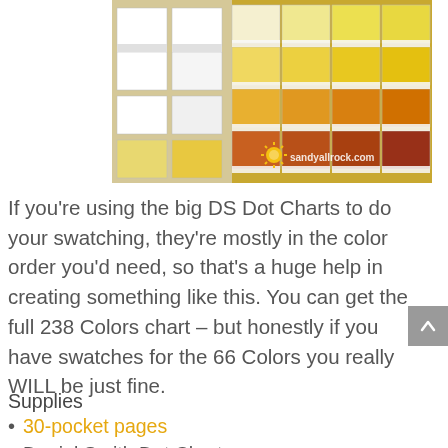[Figure (photo): Photo of Daniel Smith watercolor dot charts organized in plastic pocket pages, showing yellow and orange paint swatches. Watermark 'sandyallrockock.com' with sun logo visible at bottom.]
If you're using the big DS Dot Charts to do your swatching, they're mostly in the color order you'd need, so that's a huge help in creating something like this. You can get the full 238 Colors chart – but honestly if you have swatches for the 66 Colors you really WILL be just fine.
Supplies
30-pocket pages
Daniel Smith Dot Charts